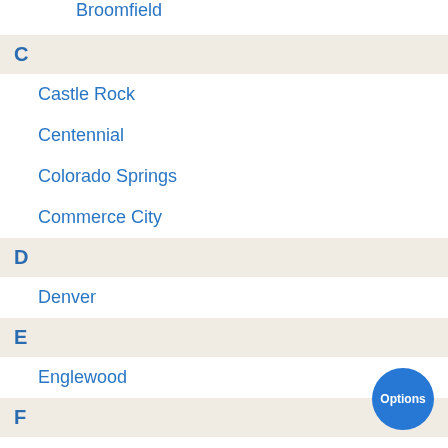Broomfield
C
Castle Rock
Centennial
Colorado Springs
Commerce City
D
Denver
E
Englewood
F
Federal Heights